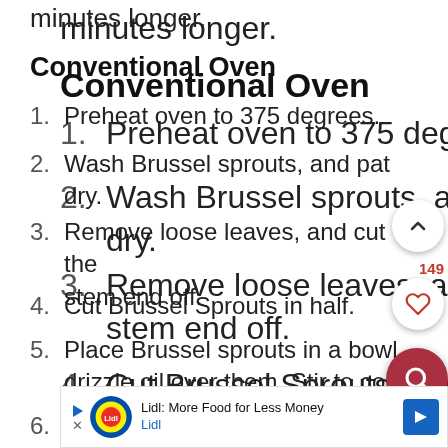minutes longer.
Conventional Oven
1. Preheat oven to 375 degrees.
2. Wash Brussel sprouts, and pat dry.
3. Remove loose leaves, and cut the stem end off.
4. Cut Brussel Sprouts in half.
5. Place Brussel sprouts in a bowl, drizzle oil over them. Stir to coat the Brussel Sprouts.
6.
[Figure (screenshot): UI overlay with up arrow button, heart/like button with count 149, red search button, and close button]
[Figure (infographic): Lidl advertisement bar: 'Lidl: More Food for Less Money' with Lidl logo and navigation arrow icon]